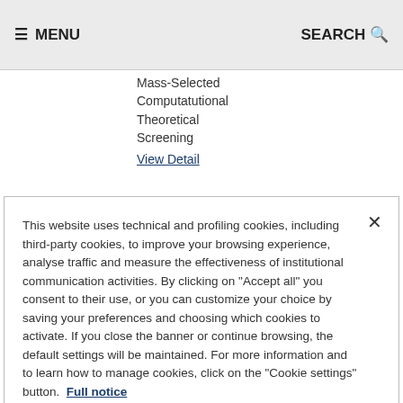☰ MENU   SEARCH 🔍
Computatutional
Theoretical
Screening
View Detail
This website uses technical and profiling cookies, including third-party cookies, to improve your browsing experience, analyse traffic and measure the effectiveness of institutional communication activities. By clicking on "Accept all" you consent to their use, or you can customize your choice by saving your preferences and choosing which cookies to activate. If you close the banner or continue browsing, the default settings will be maintained. For more information and to learn how to manage cookies, click on the "Cookie settings" button. Full notice
Cookies Settings
Reject All